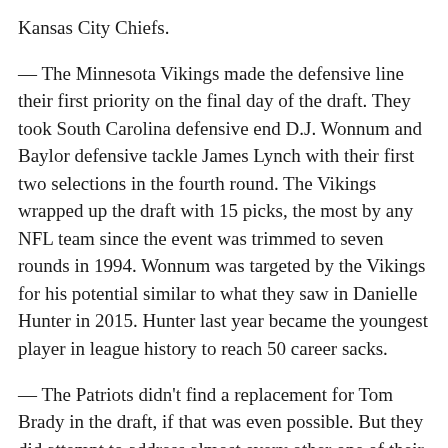Kansas City Chiefs.
— The Minnesota Vikings made the defensive line their first priority on the final day of the draft. They took South Carolina defensive end D.J. Wonnum and Baylor defensive tackle James Lynch with their first two selections in the fourth round. The Vikings wrapped up the draft with 15 picks, the most by any NFL team since the event was trimmed to seven rounds in 1994. Wonnum was targeted by the Vikings for his potential similar to what they saw in Danielle Hunter in 2015. Hunter last year became the youngest player in league history to reach 50 career sacks.
— The Patriots didn't find a replacement for Tom Brady in the draft, if that was even possible. But they did attempt to address almost every other one of their needs. New England drafted 10 players over three days. Four of the picks were on defense, which was hit hard in free agency. Five were used on offense, including a pair of tight ends. That position was unproductive for New England last year after